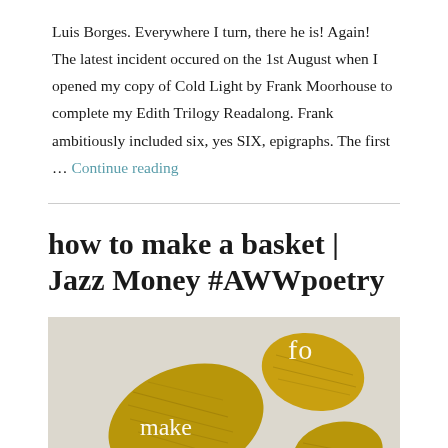Luis Borges. Everywhere I turn, there he is! Again! The latest incident occured on the 1st August when I opened my copy of Cold Light by Frank Moorhouse to complete my Edith Trilogy Readalong. Frank ambitiously included six, yes SIX, epigraphs. The first … Continue reading
how to make a basket | Jazz Money #AWWpoetry
[Figure (photo): Book cover or artwork for 'how to make a basket' by Jazz Money showing golden/yellow torn paper or leaf shapes against a light background with white text reading 'fo', 'make']